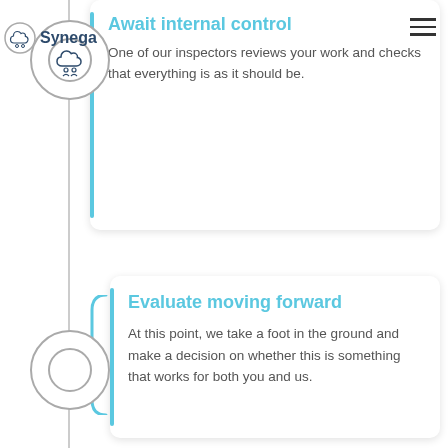[Figure (logo): Synega cloud logo with company name]
Await internal control
One of our inspectors reviews your work and checks that everything is as it should be.
Evaluate moving forward
At this point, we take a foot in the ground and make a decision on whether this is something that works for both you and us.